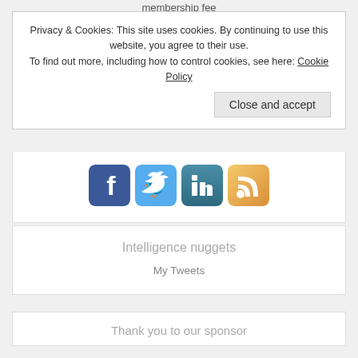membership fee
Privacy & Cookies: This site uses cookies. By continuing to use this website, you agree to their use.
To find out more, including how to control cookies, see here: Cookie Policy
Close and accept
[Figure (screenshot): Social media icons: Facebook (blue), Twitter (light blue), LinkedIn (teal), RSS (orange)]
Intelligence nuggets
My Tweets
Thank you to our sponsor